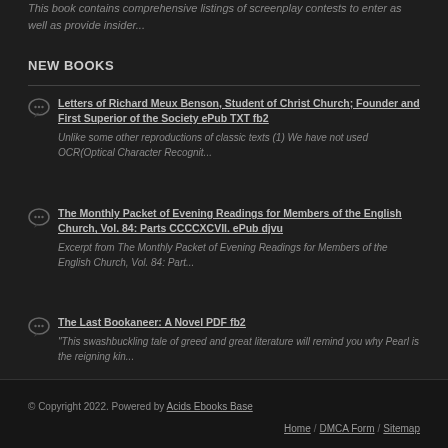This book contains comprehensive listings of screenplay contests to enter as well as provide insider...
NEW BOOKS
Letters of Richard Meux Benson, Student of Christ Church; Founder and First Superior of the Society ePub TXT fb2 — Unlike some other reproductions of classic texts (1) We have not used OCR(Optical Character Recognit...
The Monthly Packet of Evening Readings for Members of the English Church, Vol. 84: Parts CCCCXCVII. ePub djvu — Excerpt from The Monthly Packet of Evening Readings for Members of the English Church, Vol. 84: Part...
The Last Bookaneer: A Novel PDF fb2 — "This swashbuckling tale of greed and great literature will remind you why Pearl is the reigning kin...
© Copyright 2022. Powered by Acids Ebooks Base | Home / DMCA Form / Sitemap